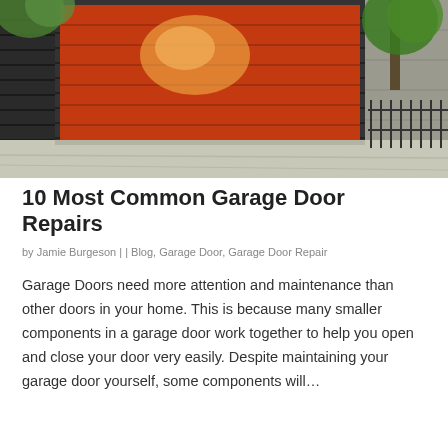[Figure (photo): Photograph of a bright red/orange roll-up garage door on a dark horizontal-slatted building exterior, with green trees visible and a concrete driveway in the foreground, taken on a sunny day]
10 Most Common Garage Door Repairs
by Jamie Burgeson | | Blog, Garage Door, Garage Door Repair
Garage Doors need more attention and maintenance than other doors in your home. This is because many smaller components in a garage door work together to help you open and close your door very easily. Despite maintaining your garage door yourself, some components will…